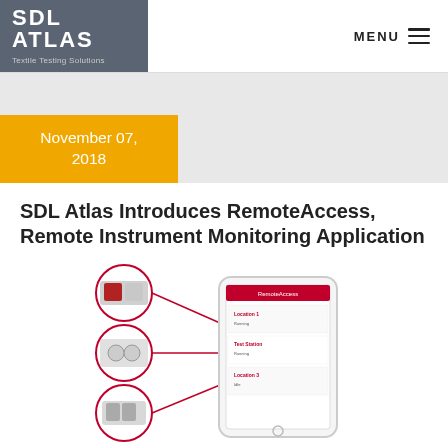SDL Atlas - Textile Testing Solutions | MENU
November 07, 2018
SDL Atlas Introduces RemoteAccess, Remote Instrument Monitoring Application
[Figure (photo): Smartphone app screenshot showing remote instrument monitoring interface with three circular instrument thumbnails on the left connected by lines to a mobile phone displaying the RemoteAccess app interface.]